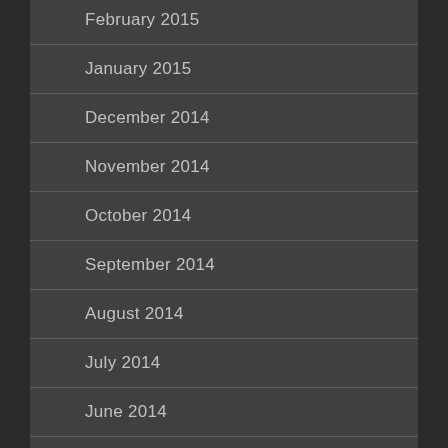February 2015
January 2015
December 2014
November 2014
October 2014
September 2014
August 2014
July 2014
June 2014
May 2014
April 2014
March 2014